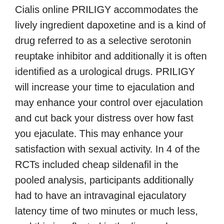Cialis online PRILIGY accommodates the lively ingredient dapoxetine and is a kind of drug referred to as a selective serotonin reuptake inhibitor and additionally it is often identified as a urological drugs. PRILIGY will increase your time to ejaculation and may enhance your control over ejaculation and cut back your distress over how fast you ejaculate. This may enhance your satisfaction with sexual activity. In 4 of the RCTs included cheap sildenafil in the pooled analysis, participants additionally had to have an intravaginal ejaculatory latency time of two minutes or much less, and this is reflected in the licensed indication. Only three of the research included in the pooled analysis acknowledged how regularly males have been to try to attempt sexual intercourse; the opposite generic cialis 2 included research did not state this. The average age of males in the pooled evaluation was forty one years.